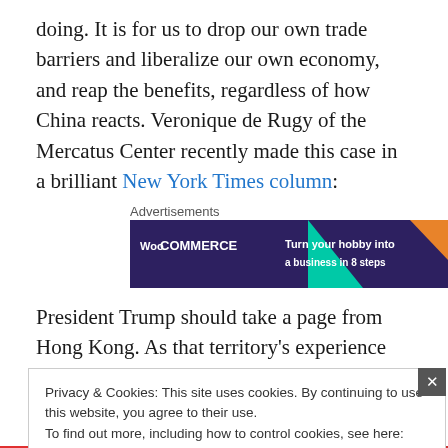doing. It is for us to drop our own trade barriers and liberalize our own economy, and reap the benefits, regardless of how China reacts. Veronique de Rugy of the Mercatus Center recently made this case in a brilliant New York Times column:
[Figure (other): WooCommerce advertisement banner: 'Turn your hobby into a business in 8 steps' on dark purple background with green and orange geometric shapes]
Advertisements
President Trump should take a page from Hong Kong. As that territory's experience demonstrates, and as
Privacy & Cookies: This site uses cookies. By continuing to use this website, you agree to their use.
To find out more, including how to control cookies, see here: Cookie Policy
Close and accept